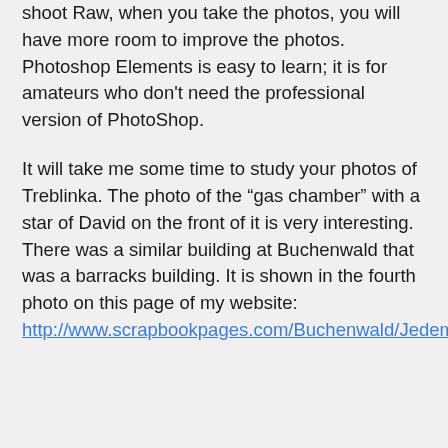shoot Raw, when you take the photos, you will have more room to improve the photos. Photoshop Elements is easy to learn; it is for amateurs who don't need the professional version of PhotoShop.
It will take me some time to study your photos of Treblinka. The photo of the “gas chamber” with a star of David on the front of it is very interesting. There was a similar building at Buchenwald that was a barracks building. It is shown in the fourth photo on this page of my website: http://www.scrapbookpages.com/Buchenwald/JedemDasSeine.html